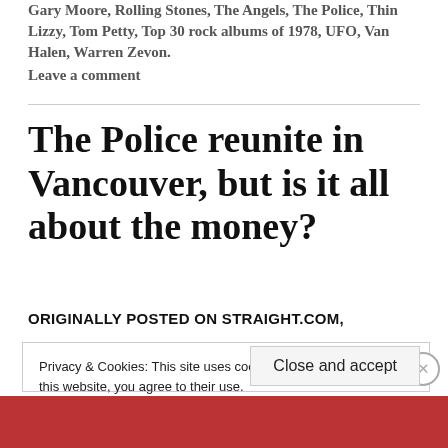Gary Moore, Rolling Stones, The Angels, The Police, Thin Lizzy, Tom Petty, Top 30 rock albums of 1978, UFO, Van Halen, Warren Zevon.
Leave a comment
The Police reunite in Vancouver, but is it all about the money?
ORIGINALLY POSTED ON STRAIGHT.COM,
Privacy & Cookies: This site uses cookies. By continuing to use this website, you agree to their use.
To find out more, including how to control cookies, see here: Cookie Policy
Close and accept